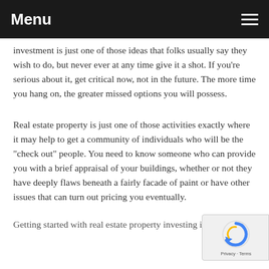Menu
investment is just one of those ideas that folks usually say they wish to do, but never ever at any time give it a shot. If you're serious about it, get critical now, not in the future. The more time you hang on, the greater missed options you will possess.
Real estate property is just one of those activities exactly where it may help to get a community of individuals who will be the "check out" people. You need to know someone who can provide you with a brief appraisal of your buildings, whether or not they have deeply flaws beneath a fairly facade of paint or have other issues that can turn out pricing you eventually.
Getting started with real estate property investing is...